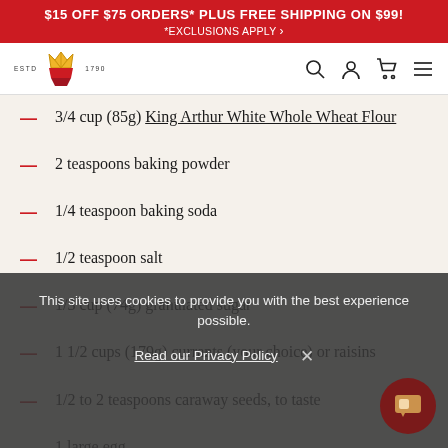$15 OFF $75 ORDERS* PLUS FREE SHIPPING ON $99! *EXCLUSIONS APPLY
[Figure (logo): King Arthur Baking Company logo with crown/wheat icon, ESTD 1790 text]
3/4 cup (85g) King Arthur White Whole Wheat Flour
2 teaspoons baking powder
1/4 teaspoon baking soda
1/2 teaspoon salt
1/3 cup (74g) granulated sugar
1 1/2 cups (179g) currants (your choice) or raisins
1/2 to 2 teaspoons caraway seeds, to taste
1 large egg
This site uses cookies to provide you with the best experience possible.
Read our Privacy Policy